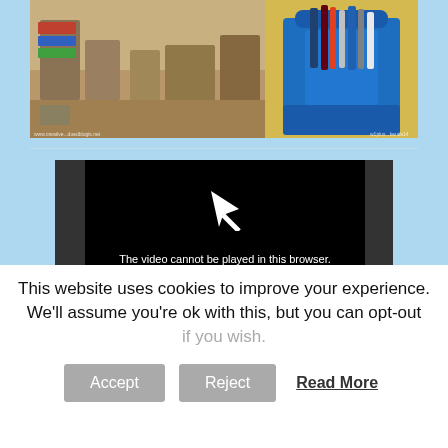[Figure (photo): Two photos side by side: left shows a classroom with shelves, desks, and learning materials; right shows a blue caddy/organizer with school supplies including markers and glue]
[Figure (screenshot): Video player showing error message: 'The video cannot be played in this browser. (Error Code: 242632)' with a play/cursor icon above]
This website uses cookies to improve your experience. We'll assume you're ok with this, but you can opt-out if you wish.